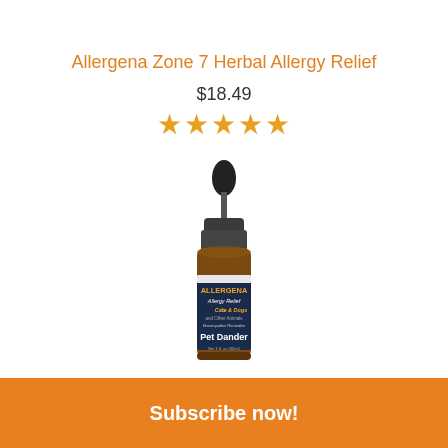Allergena Zone 7 Herbal Allergy Relief
$18.49
[Figure (other): Five gold star rating icons]
[Figure (photo): Product photo of Allergena Allergy Relief for Cats & Dogs Pet Dander dropper bottle in amber glass with black dropper cap]
Subscribe now!